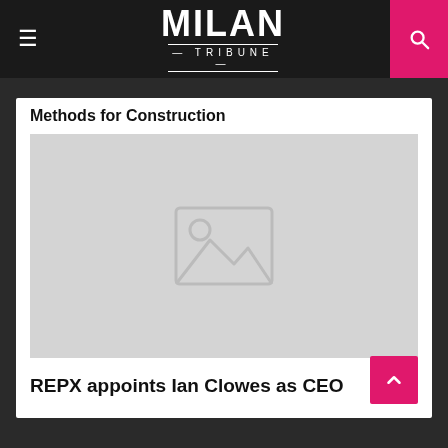MILAN TRIBUNE
Methods for Construction
[Figure (photo): Placeholder image with image icon (grey rectangle with mountain and sun icon)]
REPX appoints Ian Clowes as CEO